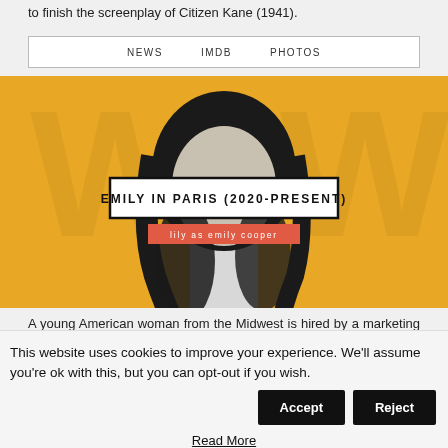to finish the screenplay of Citizen Kane (1941).
NEWS   IMDB   PHOTOS
[Figure (photo): Promotional image for Emily in Paris (2020-Present) showing Lily Collins as Emily Cooper against a yellow background. Title overlay reads 'EMILY IN PARIS (2020-PRESENT)' and subtitle badge reads 'lily as emily cooper'.]
A young American woman from the Midwest is hired by a marketing firm in Paris to provide them with an American perspective on things.
NEWS   IMDB   PHOTOS
This website uses cookies to improve your experience. We'll assume you're ok with this, but you can opt-out if you wish.
Accept
Reject
Read More